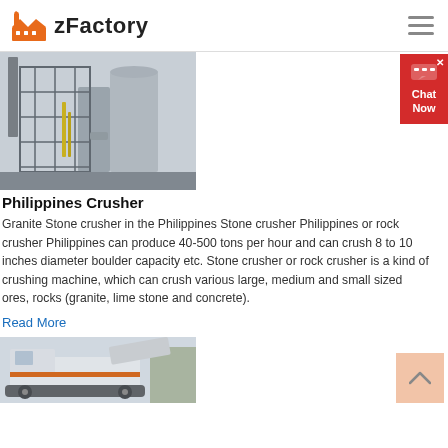zFactory
[Figure (photo): Industrial crusher/factory facility with scaffolding and large silos]
Philippines Crusher
Granite Stone crusher in the Philippines Stone crusher Philippines or rock crusher Philippines can produce 40-500 tons per hour and can crush 8 to 10 inches diameter boulder capacity etc. Stone crusher or rock crusher is a kind of crushing machine, which can crush various large, medium and small sized ores, rocks (granite, lime stone and concrete).
Read More
[Figure (photo): Mobile crusher machine in outdoor setting]